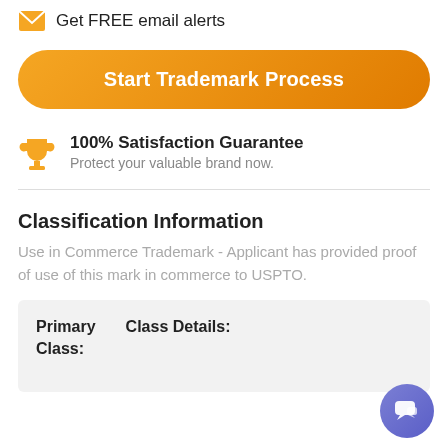Get FREE email alerts
Start Trademark Process
100% Satisfaction Guarantee
Protect your valuable brand now.
Classification Information
Use in Commerce Trademark - Applicant has provided proof of use of this mark in commerce to USPTO.
| Primary Class: | Class Details: |
| --- | --- |